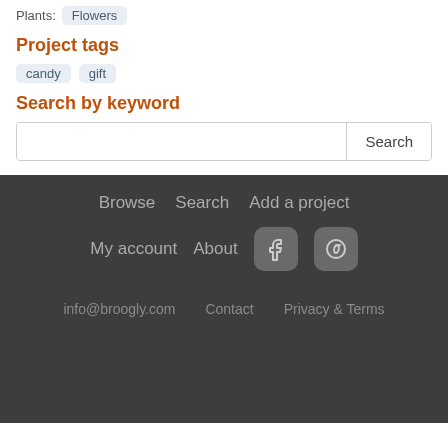Plants: Flowers
Project tags
candy
gift
Search by keyword
Search
Browse  Search  Add a project  My account  About  info@broogly.com  Contact  Privacy & Terms